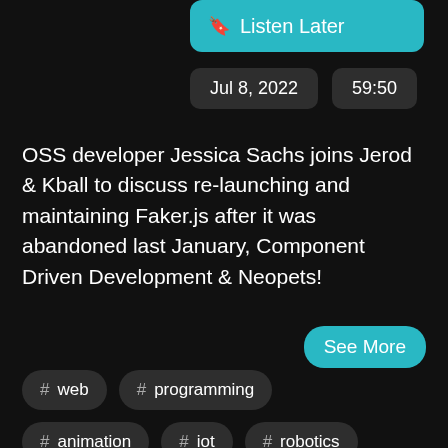Listen Later
Jul 8, 2022   59:50
OSS developer Jessica Sachs joins Jerod & Kball to discuss re-launching and maintaining Faker.js after it was abandoned last January, Component Driven Development & Neopets!
See More
# web
# programming
# animation
# iot
# robotics
# javascript
# accidentally
# html
# css
# oss
# node